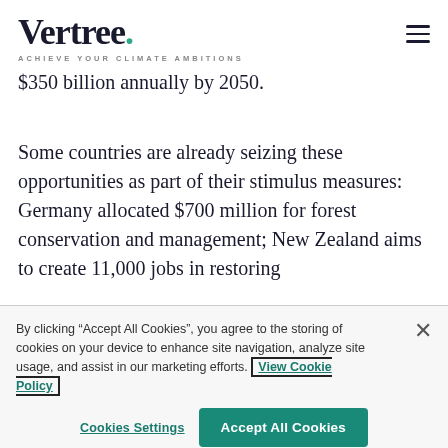Vertree. ACHIEVE YOUR CLIMATE AMBITIONS
$350 billion annually by 2050.
Some countries are already seizing these opportunities as part of their stimulus measures: Germany allocated $700 million for forest conservation and management; New Zealand aims to create 11,000 jobs in restoring
By clicking “Accept All Cookies”, you agree to the storing of cookies on your device to enhance site navigation, analyze site usage, and assist in our marketing efforts. View Cookie Policy
Cookies Settings
Accept All Cookies